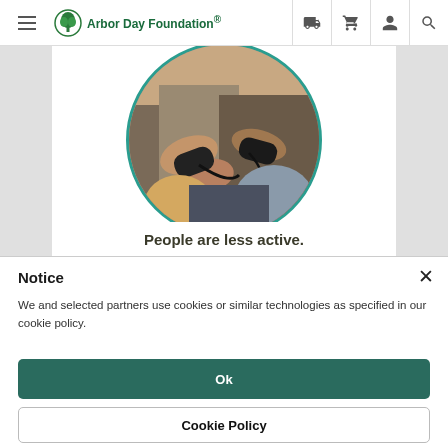Arbor Day Foundation navigation bar with hamburger menu, logo, truck icon, cart icon, user icon, search icon
[Figure (photo): Circular cropped photo showing people holding video game controllers, playing games indoors]
People are less active.
Notice
We and selected partners use cookies or similar technologies as specified in our cookie policy.
Ok
Cookie Policy